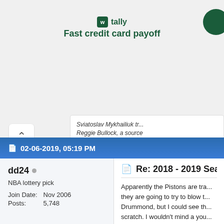[Figure (screenshot): Tally app advertisement banner with green logo and text 'Fast credit card payoff']
Sviatoslav Mykhailiuk tr... Reggie Bullock, a source
02-06-2019, 05:19 PM
dd24
NBA lottery pick
Join Date: Nov 2006
Posts: 5,748
Re: 2018 - 2019 Seaso
Apparently the Pistons are tra... they are going to try to blow t... Drummond, but I could see th... scratch. I wouldn't mind a you... Kennard should get more PT... develop some young guys an... going for the later lottery ones